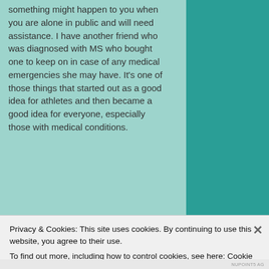something might happen to you when you are alone in public and will need assistance. I have another friend who was diagnosed with MS who bought one to keep on in case of any medical emergencies she may have. It's one of those things that started out as a good idea for athletes and then became a good idea for everyone, especially those with medical conditions.
[Figure (photo): A collage of three photos showing people wearing fitness/medical ID bracelets: left photo shows a wrist with a dark bracelet, middle is a black-and-white photo of a person, right photo shows a wrist with a purple bracelet.]
Privacy & Cookies: This site uses cookies. By continuing to use this website, you agree to their use.
To find out more, including how to control cookies, see here: Cookie Policy